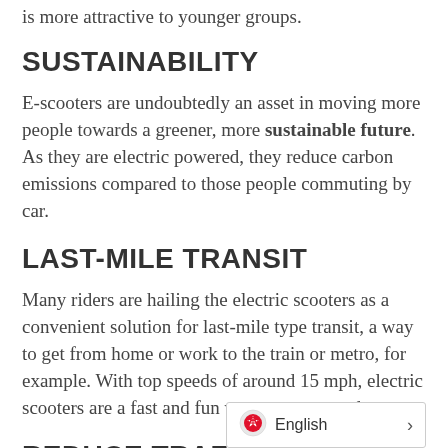is more attractive to younger groups.
SUSTAINABILITY
E-scooters are undoubtedly an asset in moving more people towards a greener, more sustainable future. As they are electric powered, they reduce carbon emissions compared to those people commuting by car.
LAST-MILE TRANSIT
Many riders are hailing the electric scooters as a convenient solution for last-mile type transit, a way to get from home or work to the train or metro, for example. With top speeds of around 15 mph, electric scooters are a fast and fun way to get around.
REDUCE TRAFFIC CONGESTION